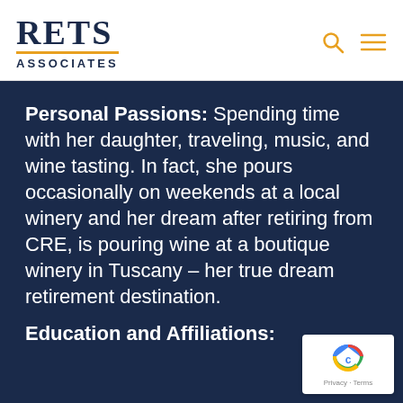RETS ASSOCIATES
Personal Passions: Spending time with her daughter, traveling, music, and wine tasting. In fact, she pours occasionally on weekends at a local winery and her dream after retiring from CRE, is pouring wine at a boutique winery in Tuscany – her true dream retirement destination.
Education and Affiliations:
[Figure (logo): reCAPTCHA badge with Privacy and Terms text]